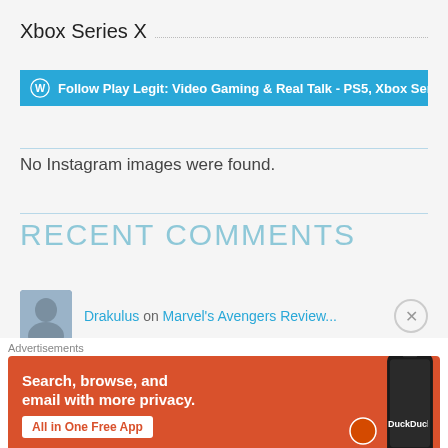Xbox Series X
[Figure (screenshot): Blue WordPress follow bar: Follow Play Legit: Video Gaming & Real Talk - PS5, Xbox Series X, Switch, PC,]
No Instagram images were found.
RECENT COMMENTS
Drakulus on Marvel's Avengers Review...
[Figure (screenshot): DuckDuckGo advertisement banner: Search, browse, and email with more privacy. All in One Free App]